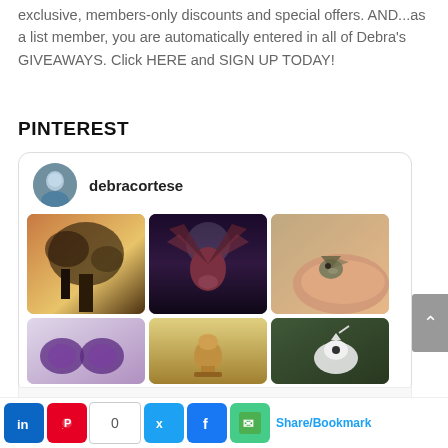exclusive, members-only discounts and special offers. AND...as a list member, you are automatically entered in all of Debra's GIVEAWAYS. Click HERE and SIGN UP TODAY!
PINTEREST
[Figure (screenshot): Pinterest widget showing profile 'debracortese' with avatar and a grid of fantasy/dragon themed images, and a Follow On Pinterest button at the bottom.]
[Figure (screenshot): Social sharing bar with LinkedIn, Pinterest, share count 0, Twitter, Facebook, Email buttons, Share/Bookmark link, and Follow On Pinterest button.]